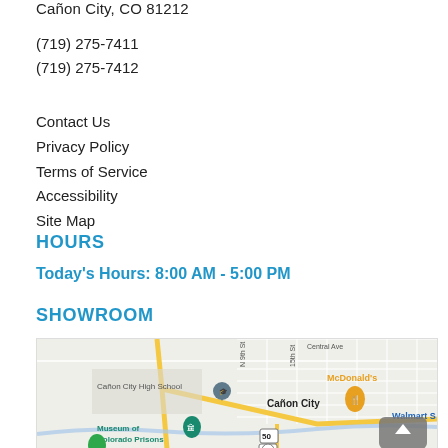Cañon City, CO 81212
(719) 275-7411
(719) 275-7412
Contact Us
Privacy Policy
Terms of Service
Accessibility
Site Map
HOURS
Today's Hours: 8:00 AM - 5:00 PM
SHOWROOM
[Figure (map): Google Maps screenshot showing Cañon City area with markers for Cañon City High School, McDonald's, Walmart, Museum of Colorado Prisons, and route 50 and 115.]